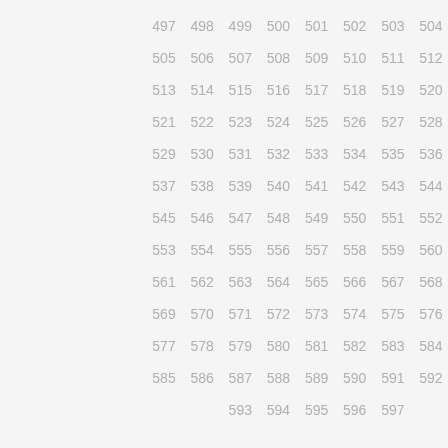| 497 | 498 | 499 | 500 | 501 | 502 | 503 | 504 |
| 505 | 506 | 507 | 508 | 509 | 510 | 511 | 512 |
| 513 | 514 | 515 | 516 | 517 | 518 | 519 | 520 |
| 521 | 522 | 523 | 524 | 525 | 526 | 527 | 528 |
| 529 | 530 | 531 | 532 | 533 | 534 | 535 | 536 |
| 537 | 538 | 539 | 540 | 541 | 542 | 543 | 544 |
| 545 | 546 | 547 | 548 | 549 | 550 | 551 | 552 |
| 553 | 554 | 555 | 556 | 557 | 558 | 559 | 560 |
| 561 | 562 | 563 | 564 | 565 | 566 | 567 | 568 |
| 569 | 570 | 571 | 572 | 573 | 574 | 575 | 576 |
| 577 | 578 | 579 | 580 | 581 | 582 | 583 | 584 |
| 585 | 586 | 587 | 588 | 589 | 590 | 591 | 592 |
|  |  | 593 | 594 | 595 | 596 | 597 |  |